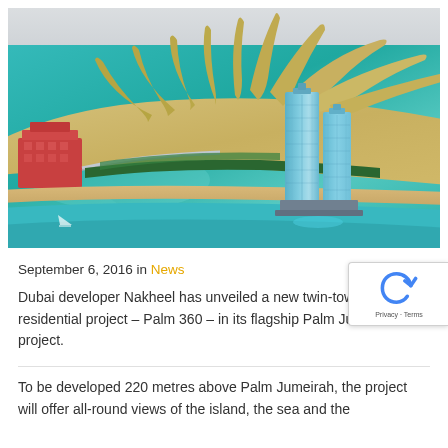[Figure (photo): Aerial architectural rendering of Palm Jumeirah, Dubai, showing the palm-shaped island with turquoise water, twin glass towers (Palm 360), the Atlantis hotel on the left, palm trees, roads, and beaches.]
September 6, 2016 in News
Dubai developer Nakheel has unveiled a new twin-tower hotel and residential project – Palm 360 – in its flagship Palm Jumeirah project.
To be developed 220 metres above Palm Jumeirah, the project will offer all-round views of the island, the sea and the